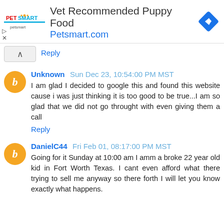[Figure (other): PetSmart advertisement banner: logo on left, text 'Vet Recommended Puppy Food' and 'Petsmart.com' in center, blue diamond navigation icon on right]
Reply
Unknown  Sun Dec 23, 10:54:00 PM MST
I am glad I decided to google this and found this website cause i was just thinking it is too good to be true...I am so glad that we did not go throught with even giving them a call
Reply
DanielC44  Fri Feb 01, 08:17:00 PM MST
Going for it Sunday at 10:00 am I amm a broke 22 year old kid in Fort Worth Texas. I cant even afford what there trying to sell me anyway so there forth I will let you know exactly what happens.